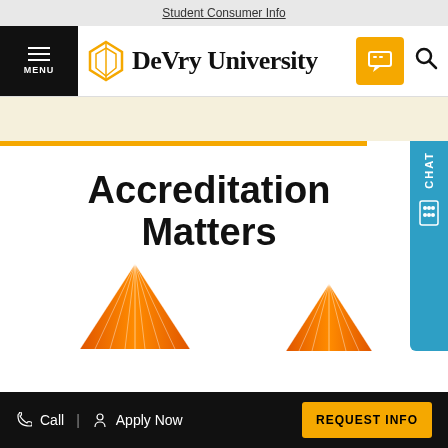Student Consumer Info
[Figure (logo): DeVry University logo with diamond/shield icon and navigation menu, chat button, search icon]
Accreditation Matters
[Figure (illustration): Two orange starburst triangle decorative icons]
Call | Apply Now | REQUEST INFO